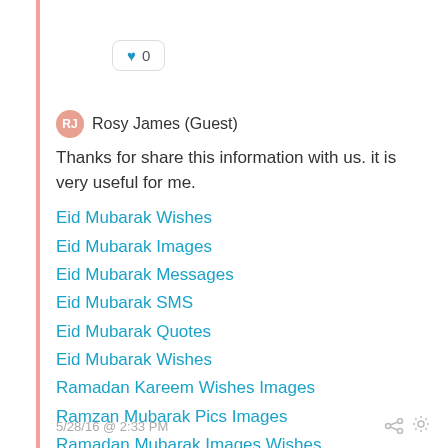[Figure (other): Like button with heart icon showing count 0]
Rosy James (Guest)
Thanks for share this information with us. it is very useful for me.
Eid Mubarak Wishes
Eid Mubarak Images
Eid Mubarak Messages
Eid Mubarak SMS
Eid Mubarak Quotes
Eid Mubarak Wishes
Ramadan Kareem Wishes Images
Ramzan Mubarak Pics Images
Ramadan Mubarak Images Wishes
5/28/16 @ 2:33 PM